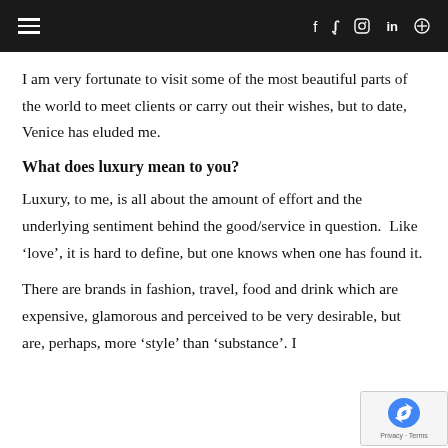≡   f  y  ⓘ  in  🔍
I am very fortunate to visit some of the most beautiful parts of the world to meet clients or carry out their wishes, but to date, Venice has eluded me.
What does luxury mean to you?
Luxury, to me, is all about the amount of effort and the underlying sentiment behind the good/service in question.  Like 'love', it is hard to define, but one knows when one has found it.
There are brands in fashion, travel, food and drink which are expensive, glamorous and perceived to be very desirable, but are, perhaps, more 'style' than 'substance'. I